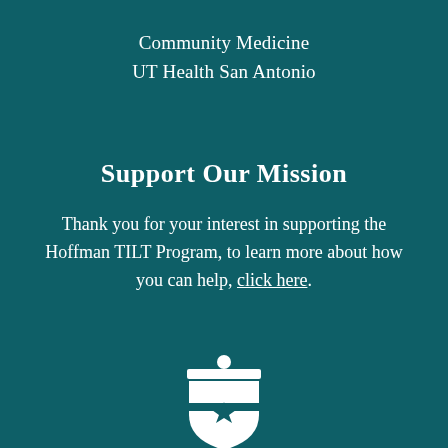Community Medicine
UT Health San Antonio
Support Our Mission
Thank you for your interest in supporting the Hoffman TILT Program, to learn more about how you can help, click here.
[Figure (logo): UT Health San Antonio shield/star logo in white on teal background, partially visible at bottom of page]